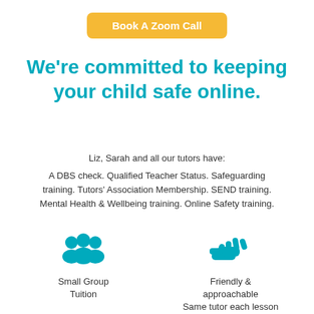[Figure (other): Yellow rounded rectangle button with white bold text 'Book A Zoom Call']
We're committed to keeping your child safe online.
Liz, Sarah and all our tutors have:
A DBS check. Qualified Teacher Status. Safeguarding training. Tutors' Association Membership. SEND training. Mental Health & Wellbeing training. Online Safety training.
[Figure (illustration): Teal icon of a group of people (small group tuition icon)]
Small Group Tuition
[Figure (illustration): Teal icon of a handshake / friendly gesture]
Friendly & approachable Same tutor each lesson